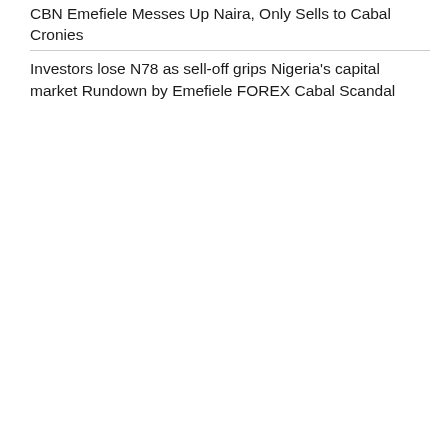CBN Emefiele Messes Up Naira, Only Sells to Cabal Cronies
Investors lose N78 as sell-off grips Nigeria's capital market Rundown by Emefiele FOREX Cabal Scandal